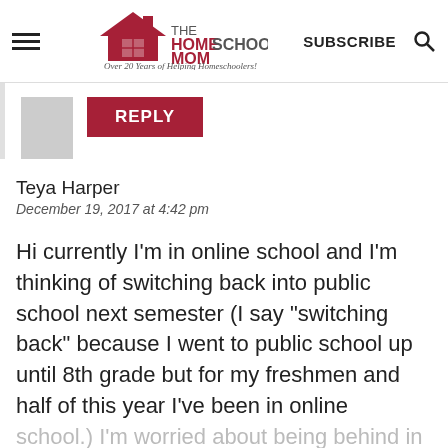THE HOMESCHOOL MOM — Over 20 Years of Helping Homeschoolers! | SUBSCRIBE
[Figure (logo): TheHomeSchoolMom logo with house icon and tagline 'Over 20 Years of Helping Homeschoolers!']
REPLY
Teya Harper
December 19, 2017 at 4:42 pm
Hi currently I'm in online school and I'm thinking of switching back into public school next semester (I say "switching back" because I went to public school up until 8th grade but for my freshmen and half of this year I've been in online school.) I'm worried about being behind in a few classes (mainly Spanish and